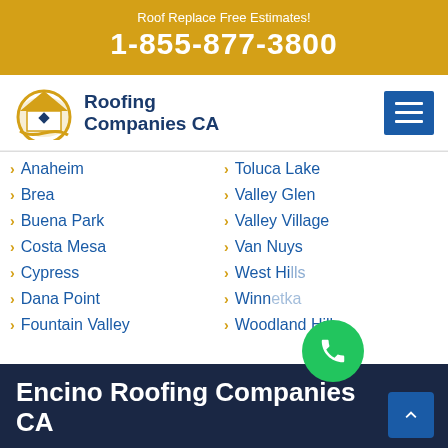Roof Replace Free Estimates!
1-855-877-3800
[Figure (logo): Roofing Companies CA logo with house/roof icon and text]
Anaheim
Toluca Lake
Brea
Valley Glen
Buena Park
Valley Village
Costa Mesa
Van Nuys
Cypress
West Hills
Dana Point
Winnetka
Fountain Valley
Woodland Hills
Encino Roofing Companies CA